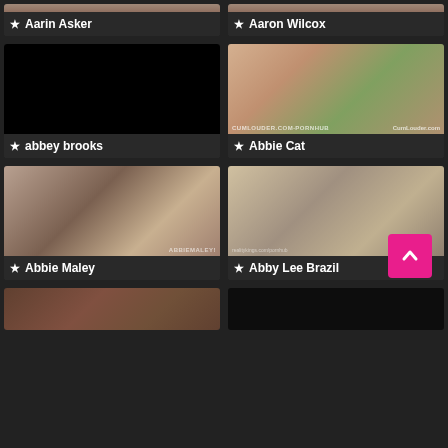[Figure (photo): Partial top strip of performer thumbnail - Aarin Asker]
★ Aarin Asker
[Figure (photo): Partial top strip of performer thumbnail - Aaron Wilcox]
★ Aaron Wilcox
[Figure (photo): Black/blank thumbnail for abbey brooks]
★ abbey brooks
[Figure (photo): Performer thumbnail for Abbie Cat - CumLouder.com/Pornhub watermark]
★ Abbie Cat
[Figure (photo): Performer thumbnail for Abbie Maley - ABBIEMALEY watermark]
★ Abbie Maley
[Figure (photo): Performer thumbnail for Abby Lee Brazil]
★ Abby Lee Brazil
[Figure (photo): Partial bottom thumbnail - unnamed performer]
[Figure (photo): Partial bottom thumbnail - black/blank]